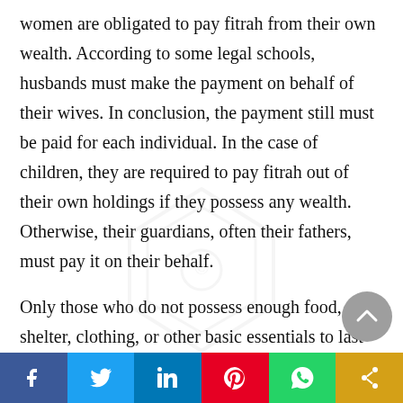women are obligated to pay fitrah from their own wealth. According to some legal schools, husbands must make the payment on behalf of their wives. In conclusion, the payment still must be paid for each individual. In the case of children, they are required to pay fitrah out of their own holdings if they possess any wealth. Otherwise, their guardians, often their fathers, must pay it on their behalf.
Only those who do not possess enough food, shelter, clothing, or other basic essentials to last them for the day of Eid are exempted from paying fitrah. Even those in debt are not